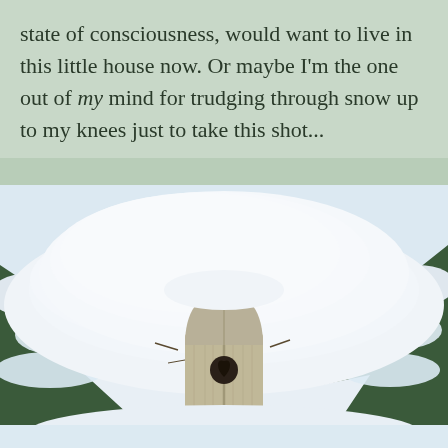state of consciousness, would want to live in this little house now. Or maybe I'm the one out of my mind for trudging through snow up to my knees just to take this shot...
[Figure (photo): A snow-covered wooden birdhouse with a heart-shaped entry hole, surrounded by snow-laden evergreen trees in a winter scene.]